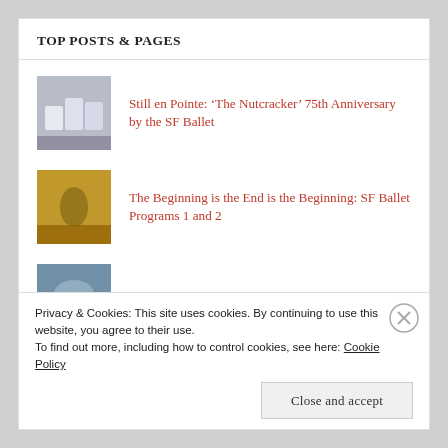TOP POSTS & PAGES
Still en Pointe: ‘The Nutcracker’ 75th Anniversary by the SF Ballet
The Beginning is the End is the Beginning: SF Ballet Programs 1 and 2
About Me
San Francisco won't miss Elon Musk
When do we re-start?: ‘Interlude’ World Premiere at NCTC
Privacy & Cookies: This site uses cookies. By continuing to use this website, you agree to their use.
To find out more, including how to control cookies, see here: Cookie Policy
Close and accept